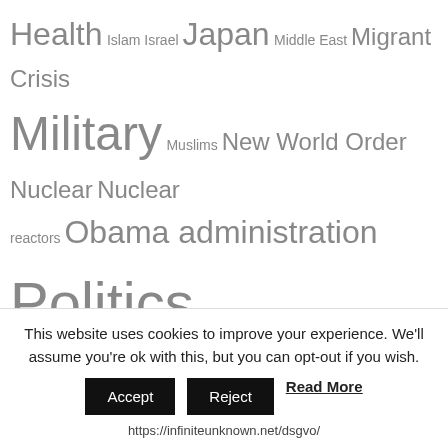Health Islam Israel Japan Middle East Migrant Crisis Military Muslims New World Order Nuclear Nuclear reactors Obama administration Politics Radiation Russia Science Sex Society Syria Technology Terrorism Trump administration U.K. U.S.
Gold/Silver
[Figure (other): 24 hour Gold and Silver price ticker showing Gold: 1745.70 ▼ -1.90 and Silver: 18.98 ▼ -0.08, with base values 1749 and 19.10]
This website uses cookies to improve your experience. We'll assume you're ok with this, but you can opt-out if you wish.
Accept  Reject  Read More
https://infiniteunknown.net/dsgvo/